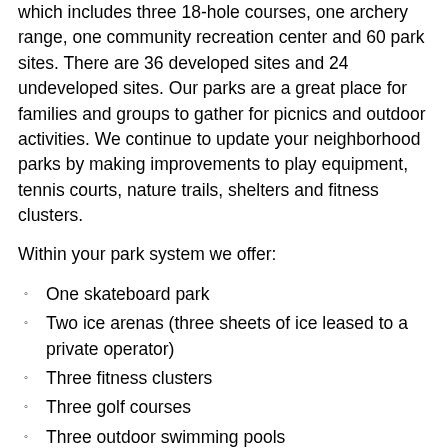which includes three 18-hole courses, one archery range, one community recreation center and 60 park sites. There are 36 developed sites and 24 undeveloped sites. Our parks are a great place for families and groups to gather for picnics and outdoor activities. We continue to update your neighborhood parks by making improvements to play equipment, tennis courts, nature trails, shelters and fitness clusters.
Within your park system we offer:
One skateboard park
Two ice arenas (three sheets of ice leased to a private operator)
Three fitness clusters
Three golf courses
Three outdoor swimming pools
Seven inline skating courts
10 sand volleyball courts
11 designated nature preserve areas some with